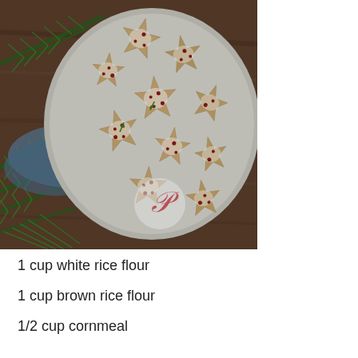[Figure (photo): Overhead photo of star-shaped cookies dusted with powdered sugar and topped with cranberries and herbs, arranged on a gray plate, surrounded by pine branches on a wooden surface. A Pinterest watermark logo is visible in the lower center of the image.]
1 cup white rice flour
1 cup brown rice flour
1/2 cup cornmeal